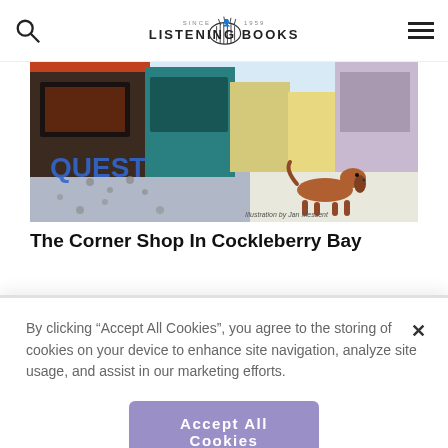Listening Books — site header with search icon, eye logo, brand name, hamburger menu
[Figure (illustration): Book cover illustration showing a street scene with a small dachshund dog, colourful shopfronts, cobblestones, and the word QUEST in blue. Caption reads 'Illustration by Jan Messent'.]
The Corner Shop In Cockleberry Bay
By clicking “Accept All Cookies”, you agree to the storing of cookies on your device to enhance site navigation, analyze site usage, and assist in our marketing efforts.
Accept All Cookies